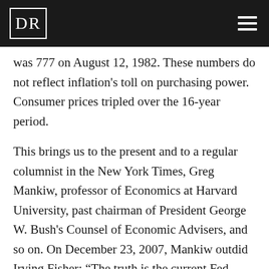DR
was 777 on August 12, 1982. These numbers do not reflect inflation's toll on purchasing power. Consumer prices tripled over the 16-year period.
This brings us to the present and to a regular columnist in the New York Times, Greg Mankiw, professor of Economics at Harvard University, past chairman of President George W. Bush's Counsel of Economic Advisers, and so on. On December 23, 2007, Mankiw outdid Irving Fisher: “The truth is the current Fed governors, together with their crack staff of Ph.D. economists and market analysts, are as close to an economic dream team, as we are ever likely to see…. The best Congress can do now is to let the Bernanke bunch do its job.”